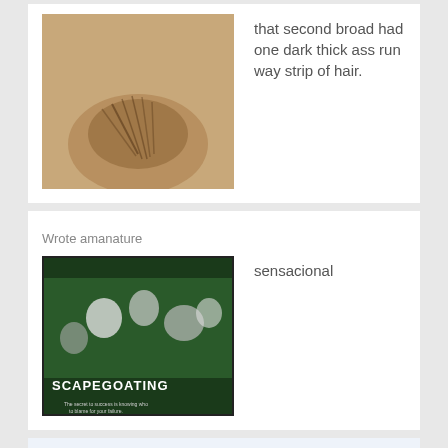[Figure (photo): Close-up photo of skin with hair]
that second broad had one dark thick ass run way strip of hair.
Wrote amanature
[Figure (photo): Scapegoating motivational poster photo with crowd]
sensacional
Wrote Dame-Clem
[Figure (photo): Photo of a person outdoors]
If I had her on a nude beach, I'd be going